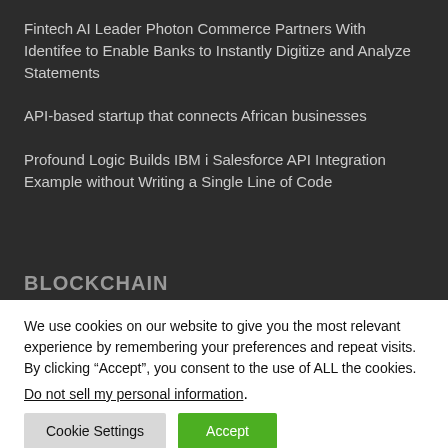Fintech AI Leader Photon Commerce Partners With Identifee to Enable Banks to Instantly Digitize and Analyze Statements
API-based startup that connects African businesses
Profound Logic Builds IBM i Salesforce API Integration Example without Writing a Single Line of Code
BLOCKCHAIN
We use cookies on our website to give you the most relevant experience by remembering your preferences and repeat visits. By clicking “Accept”, you consent to the use of ALL the cookies.
Do not sell my personal information.